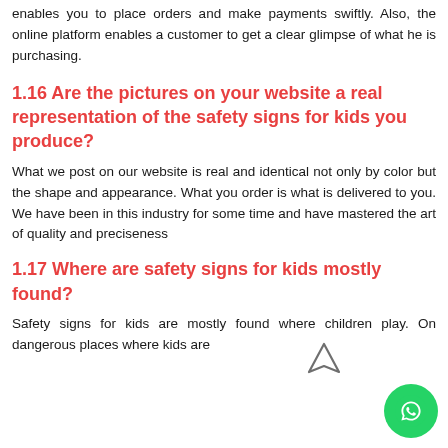enables you to place orders and make payments swiftly. Also, the online platform enables a customer to get a clear glimpse of what he is purchasing.
1.16 Are the pictures on your website a real representation of the safety signs for kids you produce?
What we post on our website is real and identical not only by color but the shape and appearance. What you order is what is delivered to you. We have been in this industry for some time and have mastered the art of quality and preciseness
1.17 Where are safety signs for kids mostly found?
Safety signs for kids are mostly found where children play. On dangerous places where kids are